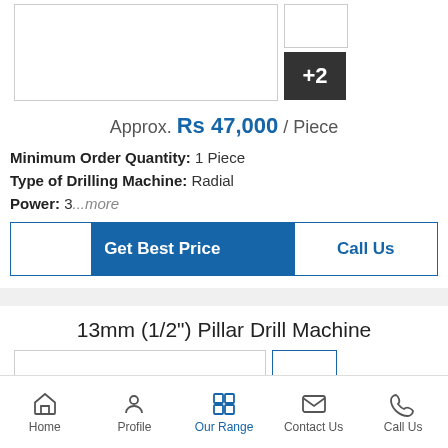[Figure (photo): Product image area with main photo box and side thumbnails including a +2 overlay button]
Approx. Rs 47,000 / Piece
Minimum Order Quantity: 1 Piece
Type of Drilling Machine: Radial
Power: 3...more
Get Best Price
Call Us
13mm (1/2") Pillar Drill Machine
[Figure (photo): Product image area for 13mm Pillar Drill Machine with arch shape visible]
Home | Profile | Our Range | Contact Us | Call Us